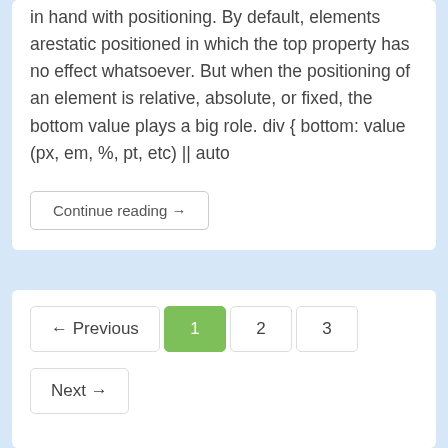in hand with positioning. By default, elements arestatic positioned in which the top property has no effect whatsoever. But when the positioning of an element is relative, absolute, or fixed, the bottom value plays a big role. div { bottom: value (px, em, %, pt, etc) || auto
Continue reading →
← Previous  1  2  3  Next →